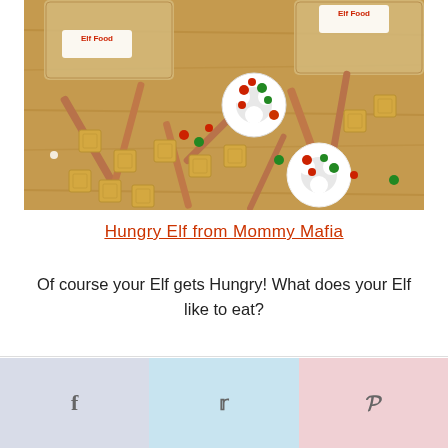[Figure (photo): Photo of Christmas snack mix spilled on a wooden surface, showing Chex cereal pieces, pretzel sticks, white chocolate covered pretzels decorated with red and green M&Ms and sprinkles, in front of bags labeled 'Elf Food']
Hungry Elf from Mommy Mafia
Of course your Elf gets Hungry! What does your Elf like to eat?
[Figure (infographic): Social sharing bar with three buttons: Facebook (f), Twitter (bird icon), Pinterest (p)]